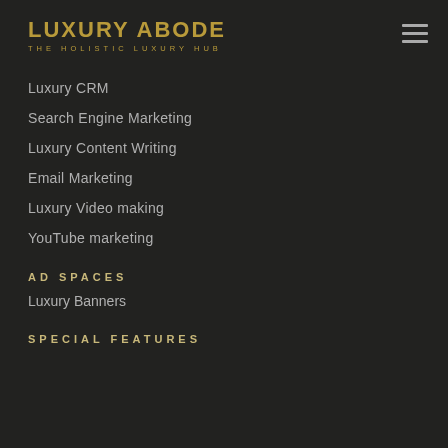LUXURY ABODE
THE HOLISTIC LUXURY HUB
Luxury CRM
Search Engine Marketing
Luxury Content Writing
Email Marketing
Luxury Video making
YouTube marketing
AD SPACES
Luxury Banners
SPECIAL FEATURES